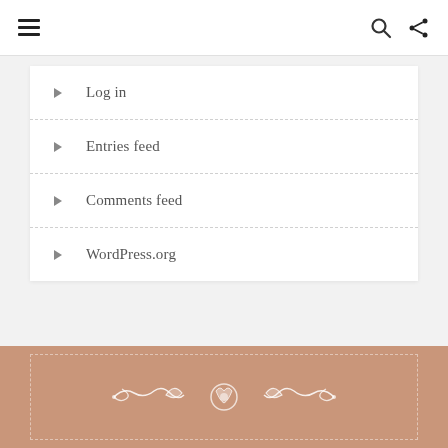Navigation bar with hamburger menu, search, and share icons
Log in
Entries feed
Comments feed
WordPress.org
Decorative footer with ornamental design